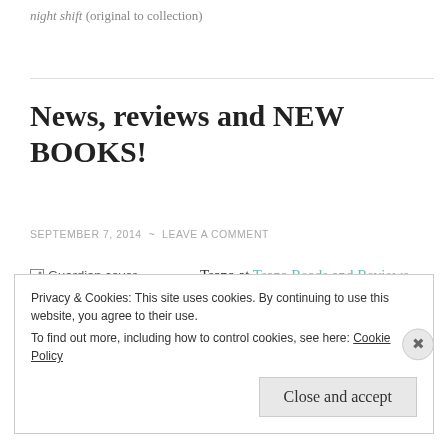night shift (original to collection)
News, reviews and NEW BOOKS!
SEPTEMBER 7, 2014 ~ LEAVE A COMMENT
[Figure (illustration): Guardian cover image placeholder]
Tsana at Tsana Reads and Reviews
Privacy & Cookies: This site uses cookies. By continuing to use this website, you agree to their use.
To find out more, including how to control cookies, see here: Cookie Policy
Close and accept